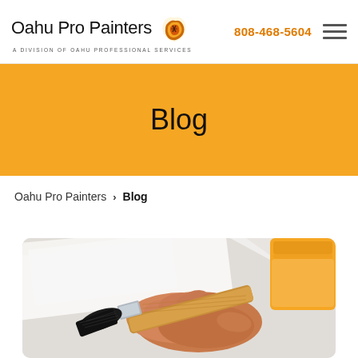Oahu Pro Painters | A Division of Oahu Professional Services | 808-468-5604
Blog
Oahu Pro Painters > Blog
[Figure (photo): Close-up of a hand holding a paint brush with black bristles against a white surface, with an orange paint can visible in the upper right corner.]